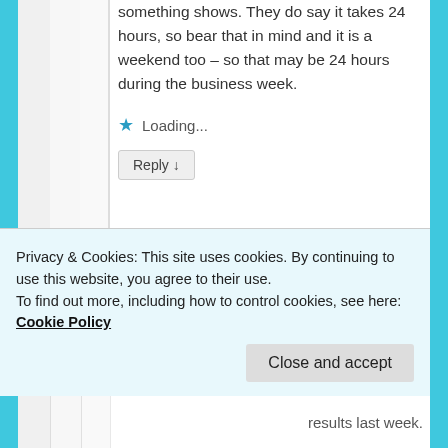say it takes 24 hours, so bear that in mind and it is a weekend too – so that may be 24 hours during the business week.
★ Loading...
Reply ↓
Carole Rice on April 7, 2013 at 4:28 pm said:
Privacy & Cookies: This site uses cookies. By continuing to use this website, you agree to their use. To find out more, including how to control cookies, see here: Cookie Policy
Close and accept
results last week.